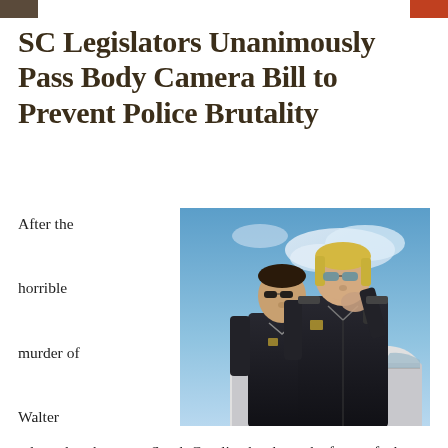SC Legislators Unanimously Pass Body Camera Bill to Prevent Police Brutality
After the horrible murder of Walter Scott was filmed and
[Figure (photo): Two police officers in dark uniforms and sunglasses standing near a vehicle against a blue sky background. A female officer in the foreground holds a radio, a male officer stands behind her.]
released to the press, South Carolina has been the focus of a huge police brutality scandal. North